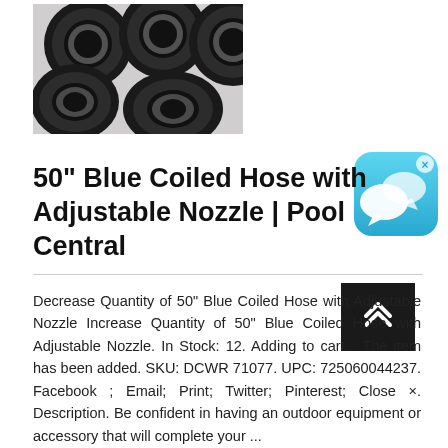[Figure (photo): Five black rubber hoses/tubes viewed from the open end showing circular cross-sections with white/silver inner ring, arranged in a cluster on a light gray surface.]
50" Blue Coiled Hose with Adjustable Nozzle | Pool Central
Decrease Quantity of 50" Blue Coiled Hose with Adjustable Nozzle Increase Quantity of 50" Blue Coiled Hose with Adjustable Nozzle. In Stock: 12. Adding to cart... The item has been added. SKU: DCWR 71077. UPC: 725060044237. Facebook ; Email; Print; Twitter; Pinterest; Close ×. Description. Be confident in having an outdoor equipment or accessory that will complete your ...